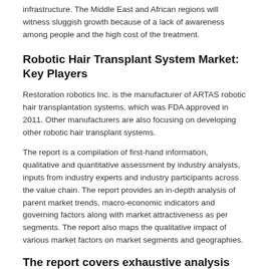infrastructure. The Middle East and African regions will witness sluggish growth because of a lack of awareness among people and the high cost of the treatment.
Robotic Hair Transplant System Market: Key Players
Restoration robotics Inc. is the manufacturer of ARTAS robotic hair transplantation systems, which was FDA approved in 2011. Other manufacturers are also focusing on developing other robotic hair transplant systems.
The report is a compilation of first-hand information, qualitative and quantitative assessment by industry analysts, inputs from industry experts and industry participants across the value chain. The report provides an in-depth analysis of parent market trends, macro-economic indicators and governing factors along with market attractiveness as per segments. The report also maps the qualitative impact of various market factors on market segments and geographies.
The report covers exhaustive analysis on: